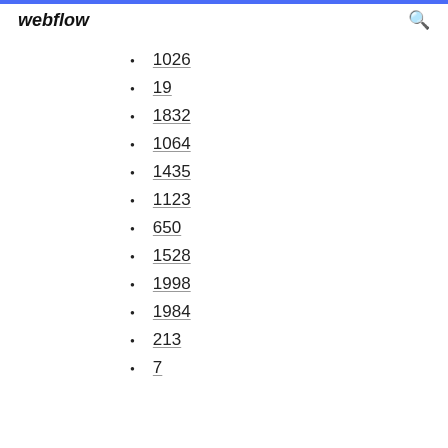webflow
1026
19
1832
1064
1435
1123
650
1528
1998
1984
213
7